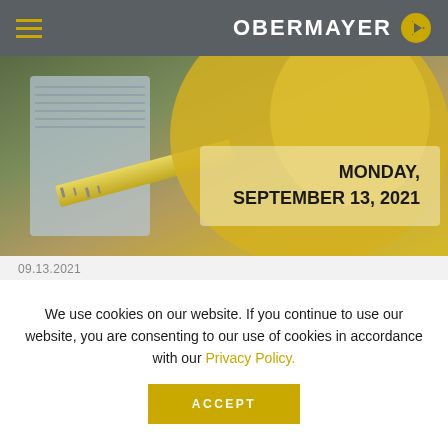OBERMAYER
[Figure (photo): School supplies photo with yellow background showing notebooks, ruler, pencils. Overlaid text reads: MONDAY, SEPTEMBER 13, 2021]
09.13.2021
Back-to-School: Navigating Parenting Disputes
[Figure (logo): Events banner with EVENTS tag label on gold background and Obermayer logo]
We use cookies on our website. If you continue to use our website, you are consenting to our use of cookies in accordance with our Privacy Policy.
ACCEPT